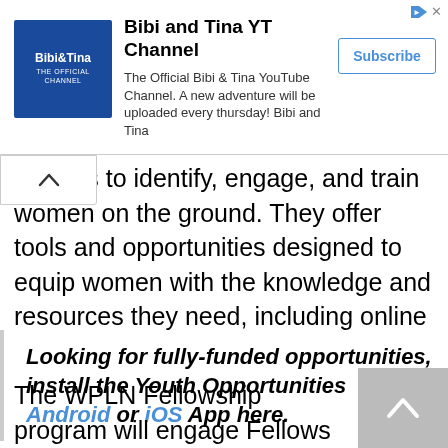[Figure (screenshot): Advertisement banner for Bibi and Tina YT Channel with logo, description text, and Subscribe button]
izations to identify, engage, and train women on the ground. They offer tools and opportunities designed to equip women with the knowledge and resources they need, including online content and access to a community of like-minded individuals who can help them on their journey.
Looking for fully-funded opportunities, install the Youth Opportunities Android or iOS App here.
The WPLN Fellowship program will engage Fellows to help build the capacity of our network of state-based